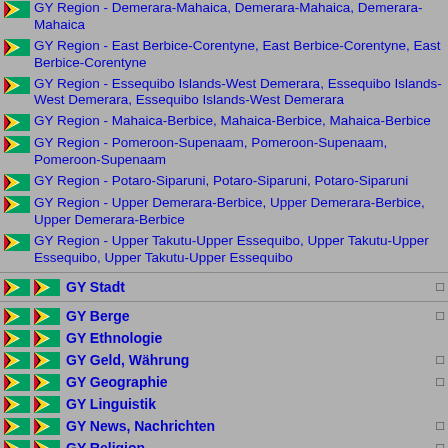GY Region - Demerara-Mahaica, Demerara-Mahaica, Demerara-Mahaica
GY Region - East Berbice-Corentyne, East Berbice-Corentyne, East Berbice-Corentyne
GY Region - Essequibo Islands-West Demerara, Essequibo Islands-West Demerara, Essequibo Islands-West Demerara
GY Region - Mahaica-Berbice, Mahaica-Berbice, Mahaica-Berbice
GY Region - Pomeroon-Supenaam, Pomeroon-Supenaam, Pomeroon-Supenaam
GY Region - Potaro-Siparuni, Potaro-Siparuni, Potaro-Siparuni
GY Region - Upper Demerara-Berbice, Upper Demerara-Berbice, Upper Demerara-Berbice
GY Region - Upper Takutu-Upper Essequibo, Upper Takutu-Upper Essequibo, Upper Takutu-Upper Essequibo
GY Stadt
GY Berge
GY Ethnologie
GY Geld, Währung
GY Geographie
GY Linguistik
GY News, Nachrichten
GY Religion
GY Rosen-Sorten